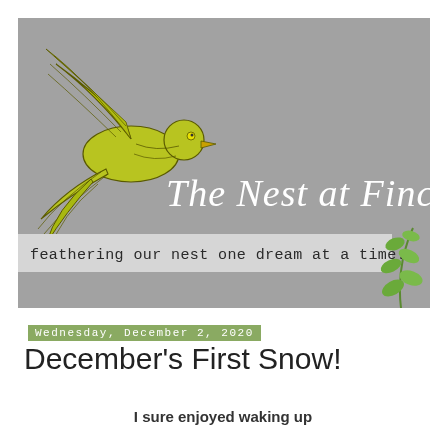[Figure (illustration): Blog banner with gray background, yellow-green illustrated bird in flight on the left, and the cursive script text 'The Nest at Finch Rest...' in white. A light gray tagline bar reads 'feathering our nest one dream at a time.' in monospace font. A green leaf sprig appears on the right side.]
Wednesday, December 2, 2020
December's First Snow!
I sure enjoyed waking up